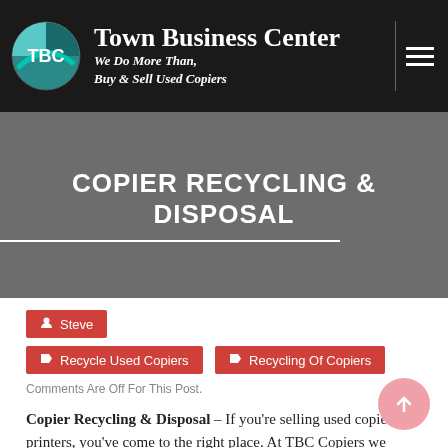Town Business Center — We Do More Than, Buy & Sell Used Copiers
COPIER RECYCLING & DISPOSAL
Steve
Recycle Used Copiers
Recycling Of Copiers
Comments Are Off For This Post.
Copier Recycling & Disposal – If you're selling used copiers or printers, you've come to the right place. At TBC Copiers we know that the Copier Recycling &